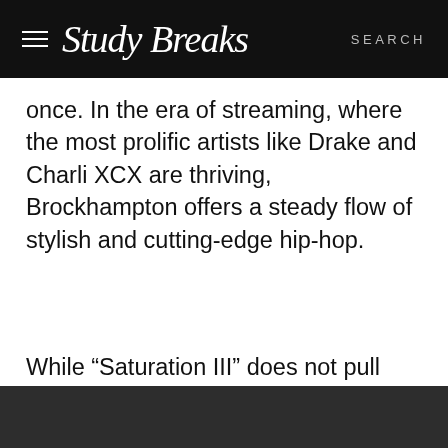Study Breaks  SEARCH
once. In the era of streaming, where the most prolific artists like Drake and Charli XCX are thriving, Brockhampton offers a steady flow of stylish and cutting-edge hip-hop.
While “Saturation III” does not pull any experimental punches, Brockhampton’s new